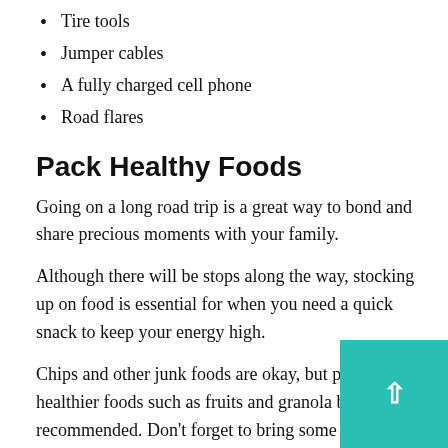Tire tools
Jumper cables
A fully charged cell phone
Road flares
Pack Healthy Foods
Going on a long road trip is a great way to bond and share precious moments with your family.
Although there will be stops along the way, stocking up on food is essential for when you need a quick snack to keep your energy high.
Chips and other junk foods are okay, but packing healthier foods such as fruits and granola bars are recommended. Don’t forget to bring some fun snacks that are ideal for children, as well.